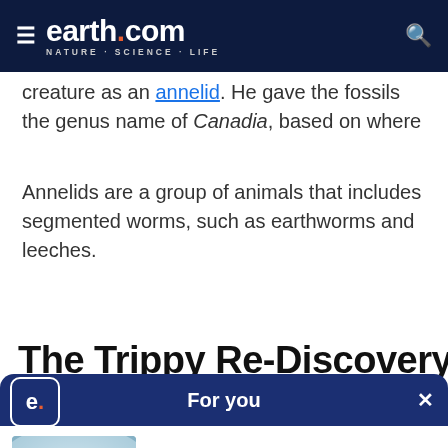earth.com · NATURE · SCIENCE · LIFE
creature as an annelid. He gave the fossils the genus name of Canadia, based on where he found the fossils.
Annelids are a group of animals that includes segmented worms, such as earthworms and leeches.
The Trippy Re-Discovery
[Figure (screenshot): Earth.com app 'For you' recommendation overlay showing article 'Scientists reveal new features of the elusive leopard seal' with a photo of a leopard seal]
Scientists reveal new features of the elusive leopard seal